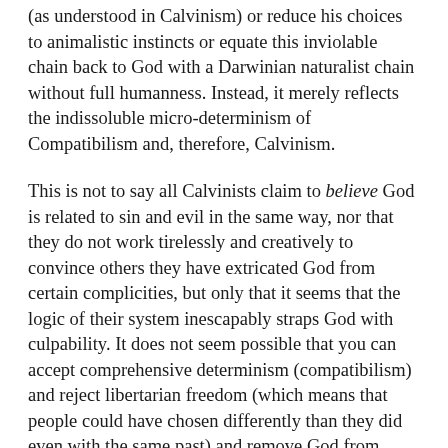(as understood in Calvinism) or reduce his choices to animalistic instincts or equate this inviolable chain back to God with a Darwinian naturalist chain without full humanness. Instead, it merely reflects the indissoluble micro-determinism of Compatibilism and, therefore, Calvinism.
This is not to say all Calvinists claim to believe God is related to sin and evil in the same way, nor that they do not work tirelessly and creatively to convince others they have extricated God from certain complicities, but only that it seems that the logic of their system inescapably straps God with culpability. It does not seem possible that you can accept comprehensive determinism (compatibilism) and reject libertarian freedom (which means that people could have chosen differently than they did even with the same past) and remove God from being the determiner of the